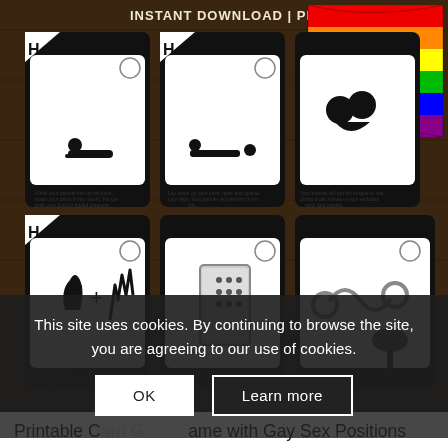[Figure (photo): Product listing screenshot showing printable card game with illustrated sex positions. Six white cards displayed in a 2x3 grid on a dark wooden background, each with a black icon and small text. Top right shows a rainbow pride flag. Header text reads 'INSTANT DOWNLOAD | PRINTABLE'. Cards show various intimate position illustrations.]
This site uses cookies. By continuing to browse the site, you are agreeing to our use of cookies.
OK
Learn more
Printable Couples Card Game with Gay Sex Positions "Sex Memory Game"
8,22$ 4,05$